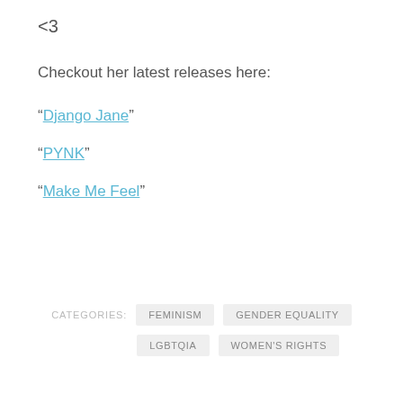<3
Checkout her latest releases here:
“Django Jane”
“PYNK”
“Make Me Feel”
CATEGORIES: FEMINISM GENDER EQUALITY LGBTQIA WOMEN'S RIGHTS